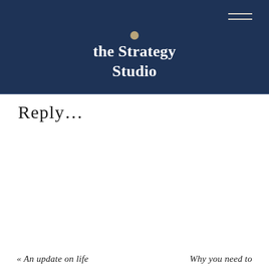the Strategy Studio
Reply…
« An update on life   Why you need to